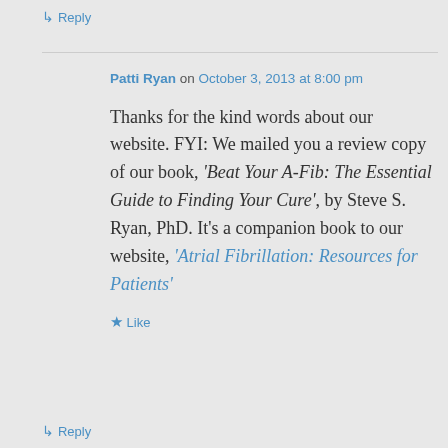↳ Reply
Patti Ryan on October 3, 2013 at 8:00 pm
Thanks for the kind words about our website. FYI: We mailed you a review copy of our book, 'Beat Your A-Fib: The Essential Guide to Finding Your Cure', by Steve S. Ryan, PhD. It's a companion book to our website, 'Atrial Fibrillation: Resources for Patients'
★ Like
↳ Reply